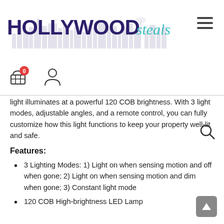[Figure (logo): Hollywood Steals logo with city skyline silhouette background. 'HOLLYWOOD' in large bold dark purple text, 'steals' in teal italic script.]
light illuminates at a powerful 120 COB brightness. With 3 light modes, adjustable angles, and a remote control, you can fully customize how this light functions to keep your property well-lit and safe.
Features:
3 Lighting Modes: 1) Light on when sensing motion and off when gone; 2) Light on when sensing motion and dim when gone; 3) Constant light mode
120 COB High-brightness LED Lamp